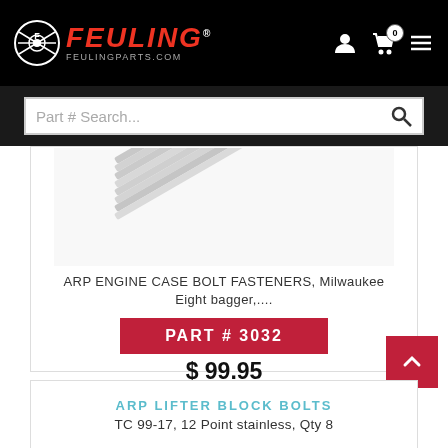[Figure (logo): Feuling Parts logo with wrench icon, red italic FEULING text and FEULINGPARTS.COM subtitle on black header background]
[Figure (screenshot): Part # Search bar on dark background with magnifying glass icon]
[Figure (photo): ARP engine case bolt fasteners, stainless steel bolts fanned out on white background]
ARP ENGINE CASE BOLT FASTENERS, Milwaukee Eight bagger,....
PART # 3032
$ 99.95
ARP LIFTER BLOCK BOLTS
TC 99-17, 12 Point stainless, Qty 8